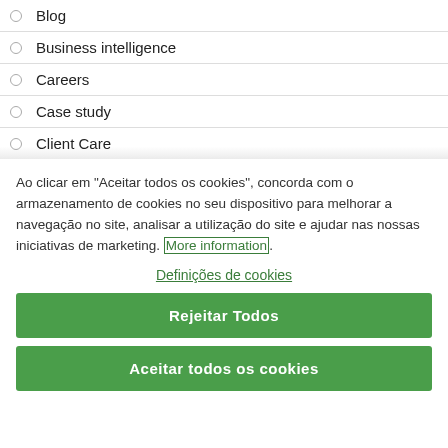Blog
Business intelligence
Careers
Case study
Client Care
Ao clicar em "Aceitar todos os cookies", concorda com o armazenamento de cookies no seu dispositivo para melhorar a navegação no site, analisar a utilização do site e ajudar nas nossas iniciativas de marketing. More information.
Definições de cookies
Rejeitar Todos
Aceitar todos os cookies